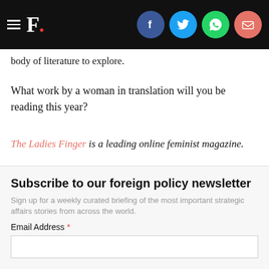F. [The Firstpost logo with social icons: Facebook, Twitter, WhatsApp, Email]
body of literature to explore.
What work by a woman in translation will you be reading this year?
The Ladies Finger is a leading online feminist magazine.
Updated Date:   August 30, 2016 12:49:32 IST
TAGS: Books  Jerry Pinto  Kr Meera  Literature
Subscribe to our foreign policy newsletter
Sign up for a weekly curated briefing of the most important strategic affairs stories from across the world.
Email Address *